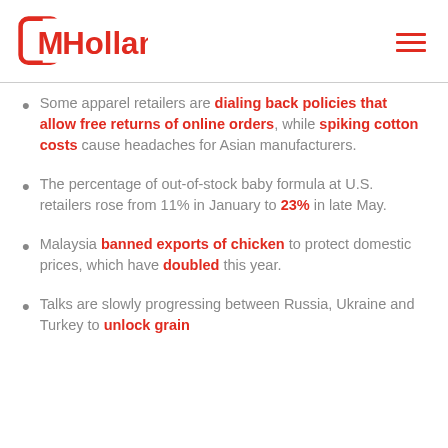MHolland
Some apparel retailers are dialing back policies that allow free returns of online orders, while spiking cotton costs cause headaches for Asian manufacturers.
The percentage of out-of-stock baby formula at U.S. retailers rose from 11% in January to 23% in late May.
Malaysia banned exports of chicken to protect domestic prices, which have doubled this year.
Talks are slowly progressing between Russia, Ukraine and Turkey to unlock grain